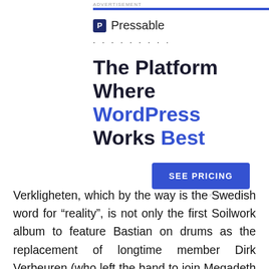ADVERTISEMENT
[Figure (logo): Pressable logo with blue square icon containing letter P and text 'Pressable']
The Platform Where WordPress Works Best
SEE PRICING
REPORT THIS AD
Verkligheten, which by the way is the Swedish word for “reality”, is not only the first Soilwork album to feature Bastian on drums as the replacement of longtime member Dirk Verbeuren (who left the band to join Megadeth a couple of years ago), but it also marks the longest gap between their studio albums to date, with their previous